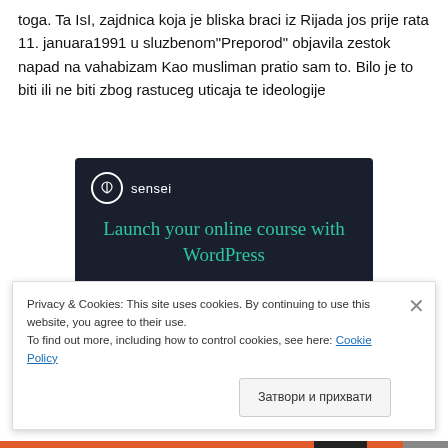toga. Ta IsI, zajdnica koja je bliska braci iz Rijada jos prije rata 11. januara1991 u sluzbenom"Preporod" objavila zestok napad na vahabizam Kao musliman pratio sam to. Bilo je to biti ili ne biti zbog rastuceg uticaja te ideologije
[Figure (screenshot): Sensei advertisement banner with dark navy background. Shows Sensei logo (tree icon in circle) and text 'Launch your online course with WordPress' in teal/green color, with a teal 'Learn More' button.]
Privacy & Cookies: This site uses cookies. By continuing to use this website, you agree to their use.
To find out more, including how to control cookies, see here: Cookie Policy